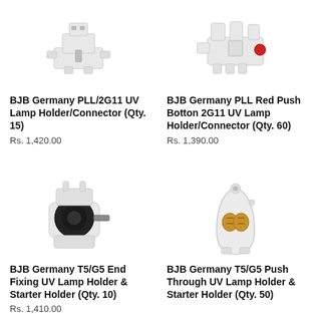[Figure (photo): BJB Germany PLL/2G11 UV Lamp Holder/Connector - white plastic lamp holder]
BJB Germany PLL/2G11 UV Lamp Holder/Connector (Qty. 15)
Rs. 1,420.00
[Figure (photo): BJB Germany PLL Red Push Button 2G11 UV Lamp Holder/Connector - white plastic connector with red button]
BJB Germany PLL Red Push Botton 2G11 UV Lamp Holder/Connector (Qty. 60)
Rs. 1,390.00
[Figure (photo): BJB Germany T5/G5 End Fixing UV Lamp Holder and Starter Holder - white with black circular center]
BJB Germany T5/G5 End Fixing UV Lamp Holder & Starter Holder (Qty. 10)
Rs. 1,410.00
[Figure (photo): BJB Germany T5/G5 Push Through UV Lamp Holder and Starter Holder - white plastic with gold/copper contacts]
BJB Germany T5/G5 Push Through UV Lamp Holder & Starter Holder (Qty. 50)